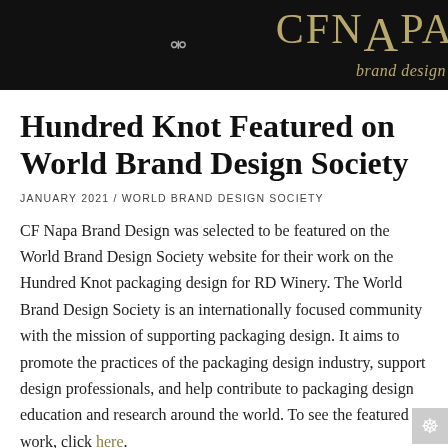CF NAPA brand design
Hundred Knot Featured on World Brand Design Society
JANUARY 2021 / WORLD BRAND DESIGN SOCIETY
CF Napa Brand Design was selected to be featured on the World Brand Design Society website for their work on the Hundred Knot packaging design for RD Winery. The World Brand Design Society is an internationally focused community with the mission of supporting packaging design. It aims to promote the practices of the packaging design industry, support design professionals, and help contribute to packaging design education and research around the world. To see the featured work, click here.